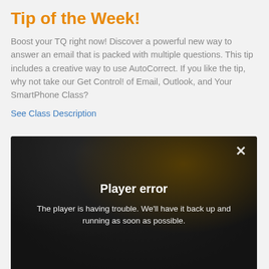Tip of the Week!
Boost your TQ right now! Discover a powerful new way to answer an email that is packed with multiple questions. This tip includes a creative way to use AutoCorrect. If you like the tip, why not take our Get Control! of Email, Outlook, and Your SmartPhone Class?
See Class Description
[Figure (screenshot): Video player screenshot showing a 'Player error' dialog overlay with dark blurred background. The dialog contains a close (×) button in the top right, the heading 'Player error' in white bold text, and the message 'The player is having trouble. We’ll have it back up and running as soon as possible.' in white text.]